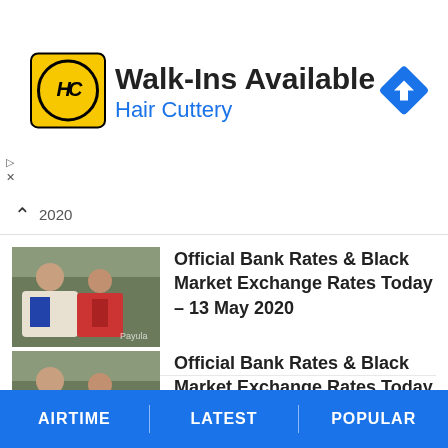[Figure (screenshot): Hair Cuttery advertisement banner with yellow logo showing HC initials, text 'Walk-Ins Available' and 'Hair Cuttery' in blue, and a blue diamond direction arrow icon on the right]
2020
[Figure (photo): Thumbnail photo of people sitting, used for article about bank rates May 13 2020]
Official Bank Rates & Black Market Exchange Rates Today – 13 May 2020
MAY 13, 2020
[Figure (photo): Thumbnail photo of people sitting, used for article about bank rates May 12 2020]
Official Bank Rates & Black Market Exchange Rates Today – 12 May 2020
MAY 12, 2020
AIRTIME | LATEST | POPULAR